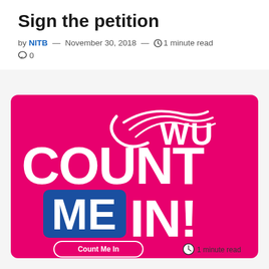Sign the petition
by NITB — November 30, 2018 — 1 minute read
0
[Figure (logo): CWU 'Count Me In!' campaign banner on a hot pink background. Large white text reads 'CWU COUNT ME IN!' with 'ME' in a blue rectangle. Swoosh logo above CWU text.]
Count Me In   1 minute read